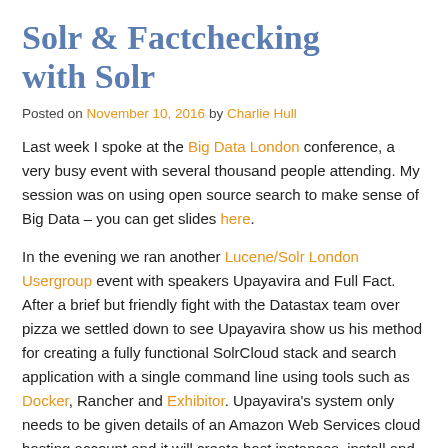Solr & Factchecking with Solr
Posted on November 10, 2016 by Charlie Hull
Last week I spoke at the Big Data London conference, a very busy event with several thousand people attending. My session was on using open source search to make sense of Big Data – you can get slides here.
In the evening we ran another Lucene/Solr London Usergroup event with speakers Upayavira and Full Fact. After a brief but friendly fight with the Datastax team over pizza we settled down to see Upayavira show us his method for creating a fully functional SolrCloud stack and search application with a single command line using tools such as Docker, Rancher and Exhibitor. Upayavira's system only needs to be given details of an Amazon Web Services cloud hosting account and it will create host instances, install and start Zookeeper, wait for a